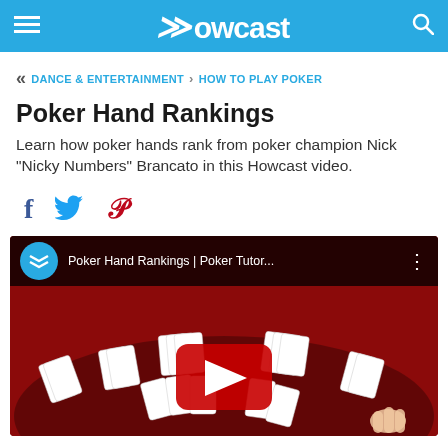Howcast
« DANCE & ENTERTAINMENT › HOW TO PLAY POKER
Poker Hand Rankings
Learn how poker hands rank from poker champion Nick "Nicky Numbers" Brancato in this Howcast video.
[Figure (screenshot): Social share icons: Facebook (f), Twitter (bird), Pinterest (p)]
[Figure (screenshot): YouTube video thumbnail for 'Poker Hand Rankings | Poker Tutor...' showing playing cards on a red table with a YouTube play button in the center. Howcast logo visible in video bar.]